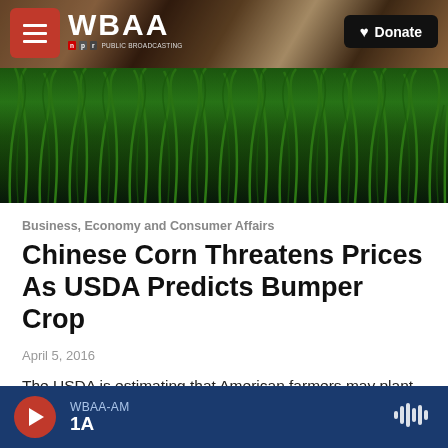[Figure (screenshot): WBAA radio website screenshot showing navigation bar with hamburger menu, WBAA logo, NPR branding, and Donate button over a background photo of tree branches with pink blossoms]
[Figure (photo): Hero image of green corn or grass field with lush green blades close up]
Business, Economy and Consumer Affairs
Chinese Corn Threatens Prices As USDA Predicts Bumper Crop
April 5, 2016
The USDA is estimating that American farmers may plant more corn this summer than they have in years. But with the news that China will begin selling off...
WBAA-AM 1A